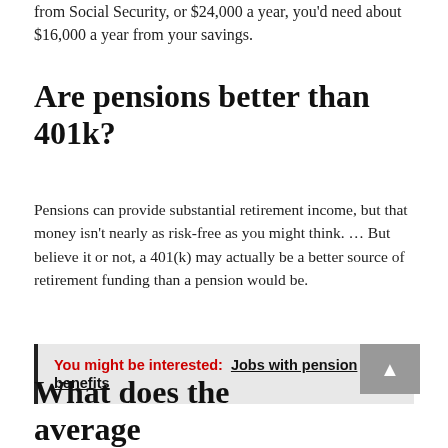from Social Security, or $24,000 a year, you'd need about $16,000 a year from your savings.
Are pensions better than 401k?
Pensions can provide substantial retirement income, but that money isn't nearly as risk-free as you might think. … But believe it or not, a 401(k) may actually be a better source of retirement funding than a pension would be.
You might be interested:  Jobs with pension benefits
What does the average